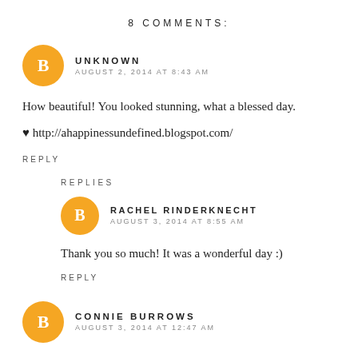8 COMMENTS:
UNKNOWN
AUGUST 2, 2014 AT 8:43 AM
How beautiful! You looked stunning, what a blessed day.
♥ http://ahappinessundefined.blogspot.com/
REPLY
REPLIES
RACHEL RINDERKNECHT
AUGUST 3, 2014 AT 8:55 AM
Thank you so much! It was a wonderful day :)
REPLY
CONNIE BURROWS
AUGUST 3, 2014 AT 12:47 AM